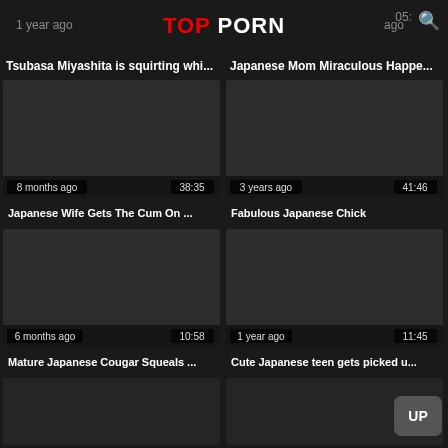TOP PORN
1 year ago
05:
Tsubasa Miyashita is squirting whi...
Japanese Mom Miraculous Happe...
[Figure (screenshot): Dark video thumbnail, 8 months ago, 38:35]
Japanese Wife Gets The Cum On ...
[Figure (screenshot): Dark video thumbnail, 3 years ago, 41:46]
Fabulous Japanese Chick
[Figure (screenshot): Dark video thumbnail, 6 months ago, 10:58]
Mature Japanese Cougar Squeals ...
[Figure (screenshot): Dark video thumbnail, 1 year ago, 11:45]
Cute Japanese teen gets picked u...
[Figure (screenshot): Dark video thumbnail partial row]
[Figure (screenshot): Dark video thumbnail partial row]